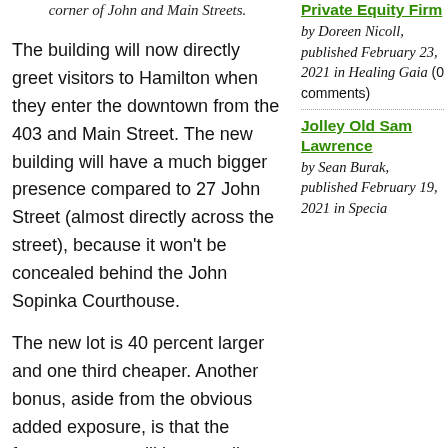corner of John and Main Streets.
The building will now directly greet visitors to Hamilton when they enter the downtown from the 403 and Main Street. The new building will have a much bigger presence compared to 27 John Street (almost directly across the street), because it won't be concealed behind the John Sopinka Courthouse.

The new lot is 40 percent larger and one third cheaper. Another bonus, aside from the obvious added exposure, is that the former owners will have to dig and remove the contaminated soil and under ground storage tanks, leaving the hole
Private Equity Firm by Doreen Nicoll, published February 23, 2021 in Healing Gaia (0 comments)
Jolley Old Sam Lawrence by Sean Burak, published February 19, 2021 in Specia